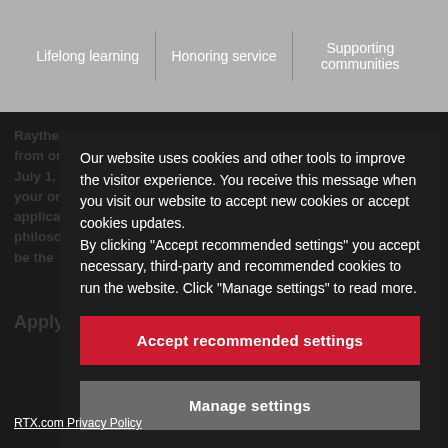Lifelong learning | Honoring service | Supporting communities
Our website uses cookies and other tools to improve the visitor experience. You receive this message when you visit our website to accept new cookies or accept cookies updates.
By clicking “Accept recommended settings” you accept necessary, third-party and recommended cookies to run the website. Click “Manage settings” to read more.
Accept recommended settings
Manage settings
RTX.com Privacy Policy